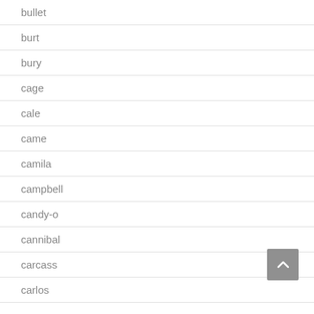bullet
burt
bury
cage
cale
came
camila
campbell
candy-o
cannibal
carcass
carlos